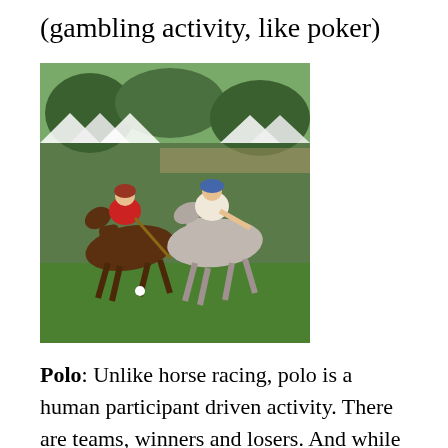(gambling activity, like poker)
[Figure (photo): Two polo players on horseback competing during a polo match on a green field. One rider wears a red shirt, the other a white shirt and blue helmet. White tent structures visible in background.]
Polo: Unlike horse racing, polo is a human participant driven activity. There are teams, winners and losers. And while I have never participated in the sport personally, I watched SportsDaughter2 ride her horse competitively often enough to know that there is a tremendous workout involved for anyone brave